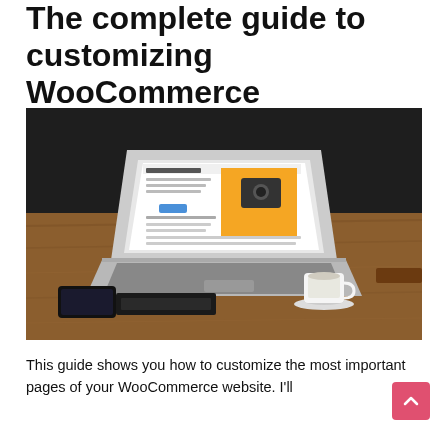The complete guide to customizing WooCommerce
May 1, 2019
[Figure (photo): Laptop on a wooden table displaying a WooCommerce product page with a yellow background and camera product. A smartphone, notebook, and coffee cup are also visible on the table.]
This guide shows you how to customize the most important pages of your WooCommerce website. I'll